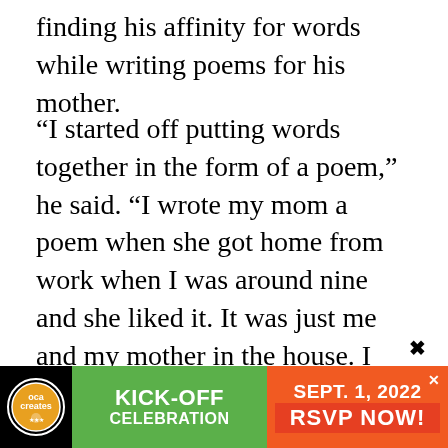finding his affinity for words while writing poems for his mother.
“I started off putting words together in the form of a poem,” he said. “I wrote my mom a poem when she got home from work when I was around nine and she liked it. It was just me and my mother in the house. I was already mature at a young age and I wanted to make sure my mom was good in every way. I use to pray that I knew what to say in any situation so I can get myself out. All that stuff translated into me playing with words a lot.”
[Figure (infographic): Advertisement banner: KICK-OFF CELEBRATION SEPT. 1, 2022 RSVP NOW! with green and orange sections and a circular logo on black background]